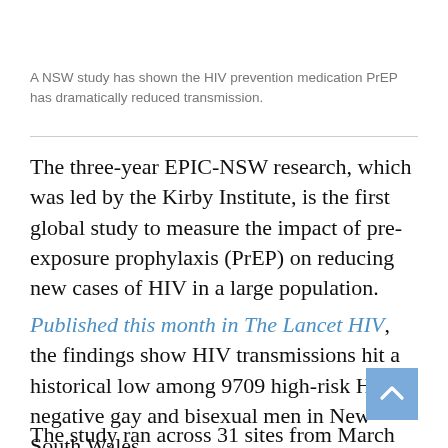A NSW study has shown the HIV prevention medication PrEP has dramatically reduced transmission.
The three-year EPIC-NSW research, which was led by the Kirby Institute, is the first global study to measure the impact of pre-exposure prophylaxis (PrEP) on reducing new cases of HIV in a large population.
Published this month in The Lancet HIV, the findings show HIV transmissions hit a historical low among 9709 high-risk HIV-negative gay and bisexual men in New South Wales.
The study ran across 31 sites from March 2016, when